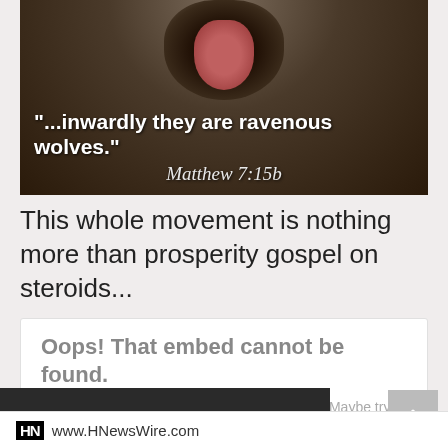[Figure (photo): Close-up photo of a wolf with open mouth/fangs, with overlaid Bible quote text: '"...inwardly they are ravenous wolves."' and 'Matthew 7:15b' in cursive script]
This whole movement is nothing more than prosperity gospel on steroids...
Oops! That embed cannot be found.

It looks like nothing was found at this location. Maybe try visiting www.HNewsWire.com directly?
Enable Notifications  OK  No thanks
HN  www.HNewsWire.com